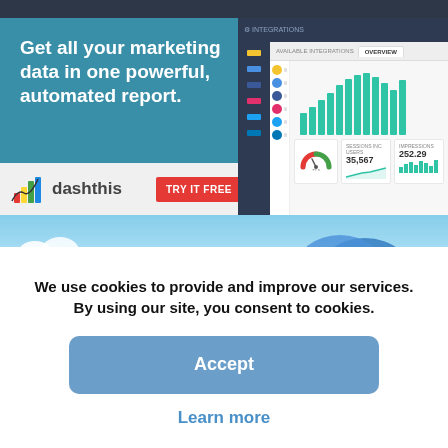[Figure (screenshot): DashThis marketing ad banner with text 'Get all your marketing data in one powerful, automated report.' and dashboard screenshot showing bar charts and metrics. Includes DashThis logo and 'TRY IT FREE' button.]
[Figure (illustration): Light blue sky banner with cloud illustrations.]
We use cookies to provide and improve our services. By using our site, you consent to cookies.
Accept
Learn more